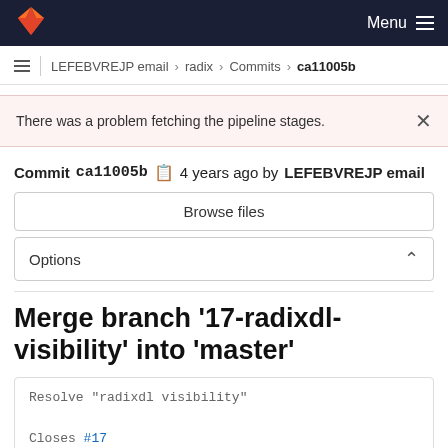GitLab — Menu
LEFEBVREJP email › radix › Commits › ca11005b
There was a problem fetching the pipeline stages.
Commit ca11005b  4 years ago by LEFEBVREJP email
Browse files
Options
Merge branch '17-radixdl-visibility' into 'master'
Resolve "radixdl visibility"

Closes #17